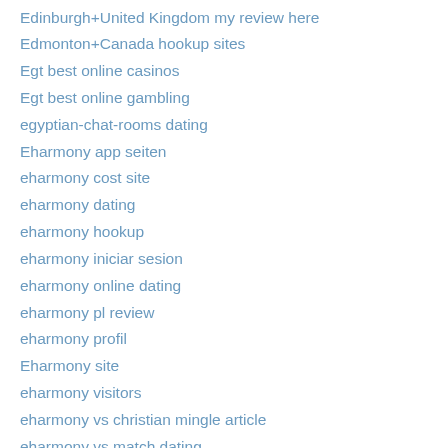Edinburgh+United Kingdom my review here
Edmonton+Canada hookup sites
Egt best online casinos
Egt best online gambling
egyptian-chat-rooms dating
Eharmony app seiten
eharmony cost site
eharmony dating
eharmony hookup
eharmony iniciar sesion
eharmony online dating
eharmony pl review
eharmony profil
Eharmony site
eharmony visitors
eharmony vs christian mingle article
eharmony vs match dating